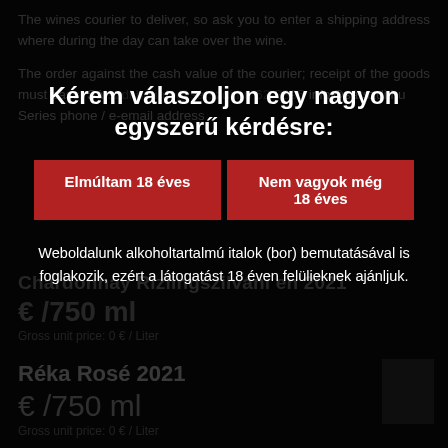The wines courier to deliver, so ask you to enter a shipping address where during the day can take over the wine.

The order against the cash value of the courier; receipt of the goods must pass. Sá... 62-8395 info@sárszdi.hu... Series phone / e-email address
Kérem válaszoljon egy nagyon egyszerű kérdésre:
Elmúltam 18 éves
Nem vagyok még 18 éves
Weboldalunk alkoholtartalmú italok (bor) bemutatásával is foglakozik, ezért a látogatást 18 éven felülieknek ajánljuk.
Chardonnay Rizlingszilváni en 2021
€ /750 ml
Gross unit price: 0 € / Liter
Réka Rosé 2021
€ /750 ml
Gross unit price: 0 € / Liter